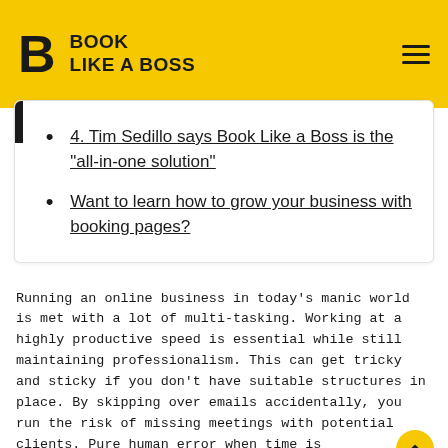BOOK LIKE A BOSS
4. Tim Sedillo says Book Like a Boss is the "all-in-one solution"
Want to learn how to grow your business with booking pages?
Running an online business in today’s manic world is met with a lot of multi-tasking. Working at a highly productive speed is essential while still maintaining professionalism. This can get tricky and sticky if you don’t have suitable structures in place. By skipping over emails accidentally, you run the risk of missing meetings with potential clients. Pure human error when time is